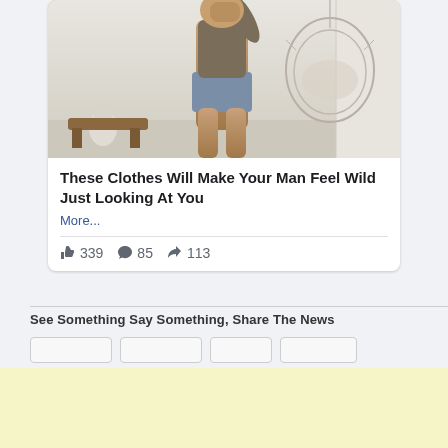[Figure (photo): Photo of a woman from behind wearing a brown cropped sweater and denim shorts, with a hanging egg chair in the background]
These Clothes Will Make Your Man Feel Wild Just Looking At You
More...
339  85  113
See Something Say Something, Share The News